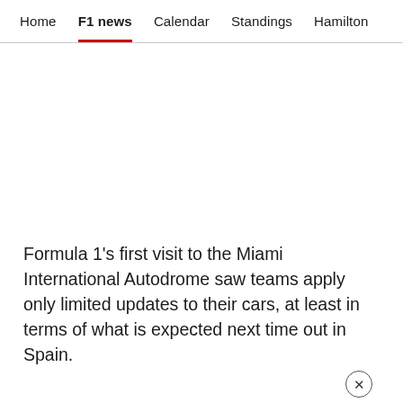Home | F1 news | Calendar | Standings | Hamilton
[Figure (other): Advertisement/blank white space area]
Formula 1's first visit to the Miami International Autodrome saw teams apply only limited updates to their cars, at least in terms of what is expected next time out in Spain.
Contrary to predictions ahead of the Florida weekend, Ferrari limited developments on their F1-75 to new front and